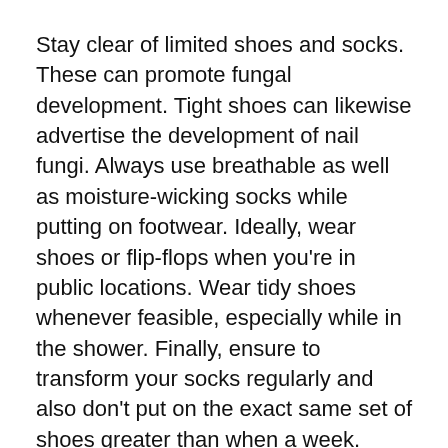Stay clear of limited shoes and socks. These can promote fungal development. Tight shoes can likewise advertise the development of nail fungi. Always use breathable as well as moisture-wicking socks while putting on footwear. Ideally, wear shoes or flip-flops when you're in public locations. Wear tidy shoes whenever feasible, especially while in the shower. Finally, ensure to transform your socks regularly and also don't put on the exact same set of shoes greater than when a week.
Root Causes Of Smelly Feet
Stinky feet are a usual problem for 10% to 15% of the populace. The germs in charge of